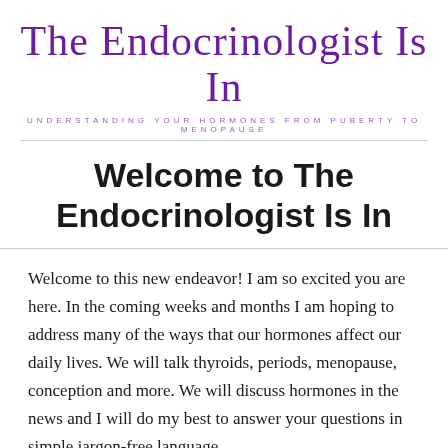The Endocrinologist Is In
UNDERSTANDING YOUR HORMONES FROM PUBERTY TO MENOPAUSE
Welcome to The Endocrinologist Is In
Welcome to this new endeavor!  I am so excited you are here.  In the coming weeks and months I am hoping to address many of the ways that our hormones affect our daily lives.  We will talk thyroids, periods, menopause, conception and more.  We will discuss hormones in the news and I will do my best to answer your questions in simple jargon-free language.